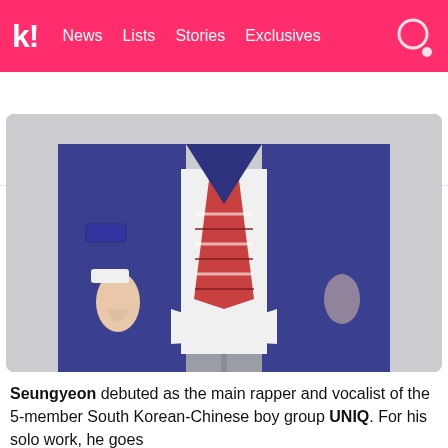k! News Lists Stories Exclusives
BTS BLACKPINK Girls' Generation NCT TWICE aespa
[Figure (photo): Person wearing a blue blazer, white dress shirt, red striped tie, and grey trousers, photographed from the neck/chin down against a light grey background.]
Seungyeon debuted as the main rapper and vocalist of the 5-member South Korean-Chinese boy group UNIQ. For his solo work, he goes